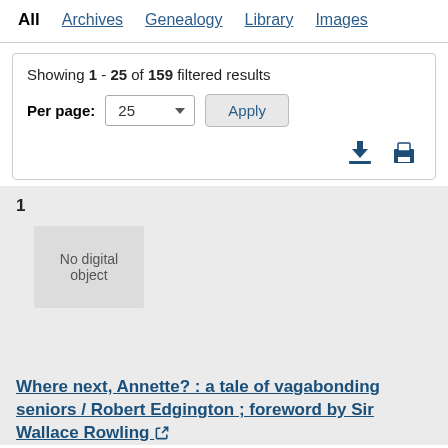All  Archives  Genealogy  Library  Images
Showing 1 - 25 of 159 filtered results
Per page: 25  Apply
No digital object
Where next, Annette? : a tale of vagabonding seniors / Robert Edgington ; foreword by Sir Wallace Rowling